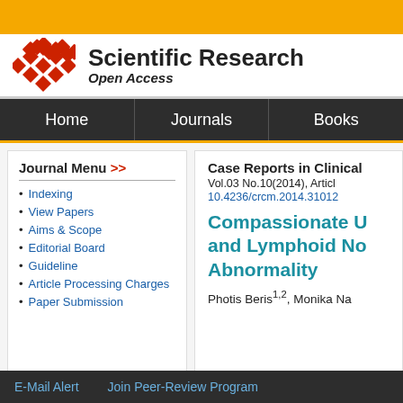[Figure (logo): Scientific Research Open Access logo with diamond pattern and text]
Home | Journals | Books
Journal Menu >>
Indexing
View Papers
Aims & Scope
Editorial Board
Guideline
Article Processing Charges
Paper Submission
Case Reports in Clinical
Vol.03 No.10(2014), Article
10.4236/crcm.2014.31012
Compassionate U and Lymphoid No Abnormality
Photis Beris1,2, Monika Na
E-Mail Alert     Join Peer-Review Program